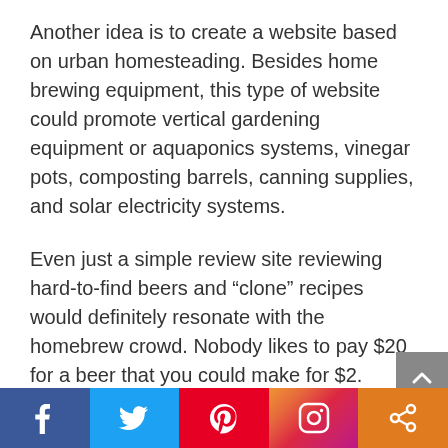Another idea is to create a website based on urban homesteading. Besides home brewing equipment, this type of website could promote vertical gardening equipment or aquaponics systems, vinegar pots, composting barrels, canning supplies, and solar electricity systems.
Even just a simple review site reviewing hard-to-find beers and “clone” recipes would definitely resonate with the homebrew crowd. Nobody likes to pay $20 for a beer that you could make for $2.
Boost Your Affiliate Earnings